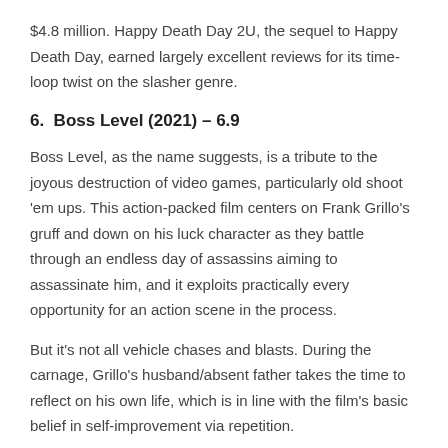$4.8 million. Happy Death Day 2U, the sequel to Happy Death Day, earned largely excellent reviews for its time-loop twist on the slasher genre.
6.  Boss Level (2021) – 6.9
Boss Level, as the name suggests, is a tribute to the joyous destruction of video games, particularly old shoot 'em ups. This action-packed film centers on Frank Grillo's gruff and down on his luck character as they battle through an endless day of assassins aiming to assassinate him, and it exploits practically every opportunity for an action scene in the process.
But it's not all vehicle chases and blasts. During the carnage, Grillo's husband/absent father takes the time to reflect on his own life, which is in line with the film's basic belief in self-improvement via repetition.
7. Triangle (2009) – 6.9